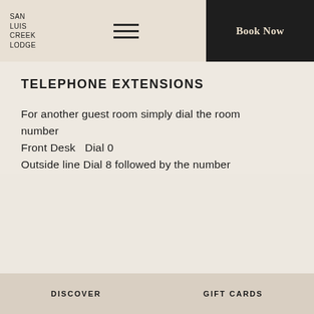SAN LUIS CREEK LODGE
TELEPHONE EXTENSIONS
For another guest room simply dial the room number
Front Desk   Dial 0
Outside line Dial 8 followed by the number
DISCOVER   GIFT CARDS